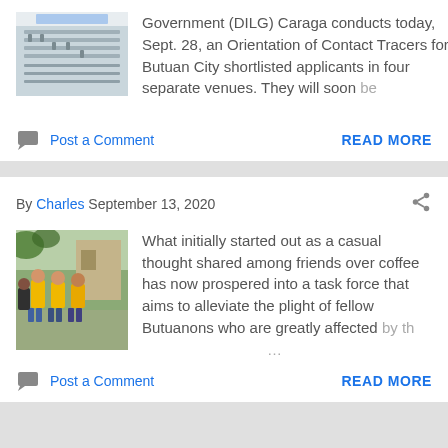Government (DILG) Caraga conducts today, Sept. 28, an Orientation of Contact Tracers for Butuan City shortlisted applicants in four separate venues. They will soon be ...
Post a Comment
READ MORE
By Charles September 13, 2020
[Figure (photo): People standing outdoors in yellow t-shirts]
What initially started out as a casual thought shared among friends over coffee has now prospered into a task force that aims to alleviate the plight of fellow Butuanons who are greatly affected by th ...
Post a Comment
READ MORE